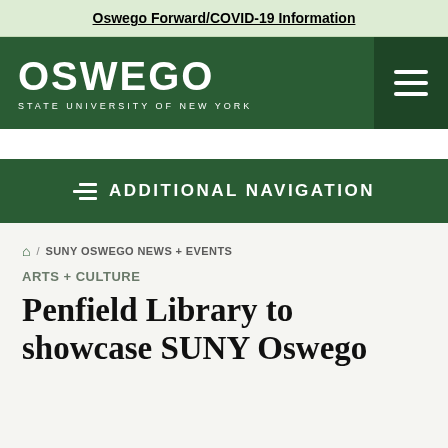Oswego Forward/COVID-19 Information
[Figure (logo): SUNY Oswego logo — white text 'OSWEGO' with 'STATE UNIVERSITY OF NEW YORK' below on dark green background, with hamburger menu icon on the right]
ADDITIONAL NAVIGATION
⌂ / SUNY OSWEGO NEWS + EVENTS
ARTS + CULTURE
Penfield Library to showcase SUNY Oswego